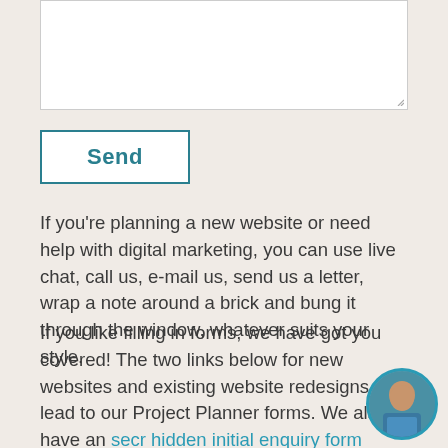[Figure (other): A blank white textarea input box with a resize handle in the bottom-right corner]
Send
If you're planning a new website or need help with digital marketing, you can use live chat, call us, e-mail us, send us a letter, wrap a note around a brick and bung it through the window, whatever suits your style.
If you like filling in forms, we have got you covered! The two links below for new websites and existing website redesigns lead to our Project Planner forms. We also have an secr hidden initial enquiry form that is much qu to fill in.
[Figure (photo): A circular avatar photo of a man in a blue polo shirt, partially visible, with a teal border]